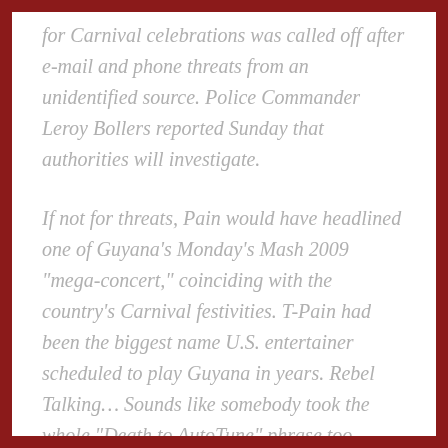for Carnival celebrations was called off after e-mail and phone threats from an unidentified source. Police Commander Leroy Bollers reported Sunday that authorities will investigate.
If not for threats, Pain would have headlined one of Guyana's Monday's Mash 2009 "mega-concert," coinciding with the country's Carnival festivities. T-Pain had been the biggest name U.S. entertainer scheduled to play Guyana in years. Rebel Talking... Sounds like somebody took the whole "Death to AutoTune" phrase too literally. Be safe (and put down the